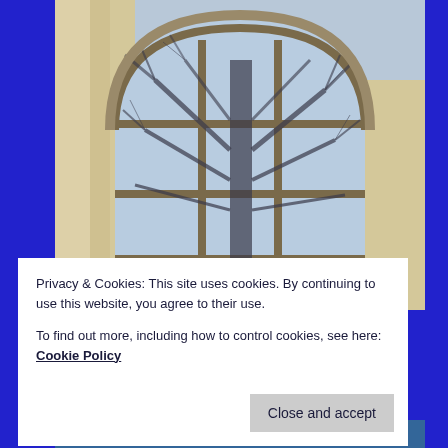[Figure (photo): Interior architectural photo showing a large arched multi-pane window with a bare winter tree visible through the glass. The window has wooden frames arranged in a grid pattern with an arched top. Cream/tan colored walls and columns are visible on the sides.]
Privacy & Cookies: This site uses cookies. By continuing to use this website, you agree to their use.
To find out more, including how to control cookies, see here: Cookie Policy